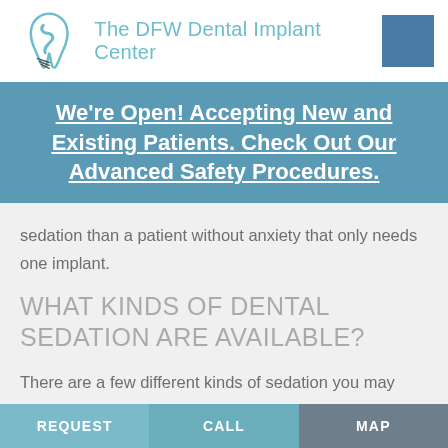The DFW Dental Implant Center
We're Open! Accepting New and Existing Patients. Check Out Our Advanced Safety Procedures.
sedation than a patient without anxiety that only needs one implant.
WHAT KINDS OF DENTAL SEDATION ARE AVAILABLE?
There are a few different kinds of sedation you may receive during dental implant placement depending on your needs:
REQUEST   CALL   MAP